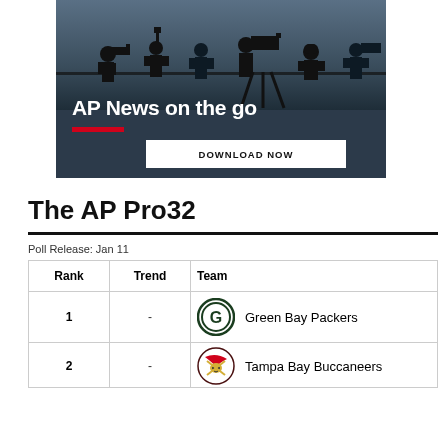[Figure (photo): AP News on the go banner with silhouetted cameramen/press photographers against a dusky sky. White bold text reads 'AP News on the go' with a red underline bar. A white 'DOWNLOAD NOW' button appears below.]
The AP Pro32
Poll Release: Jan 11
| Rank | Trend | Team |
| --- | --- | --- |
| 1 | - | Green Bay Packers |
| 2 | - | Tampa Bay Buccaneers |